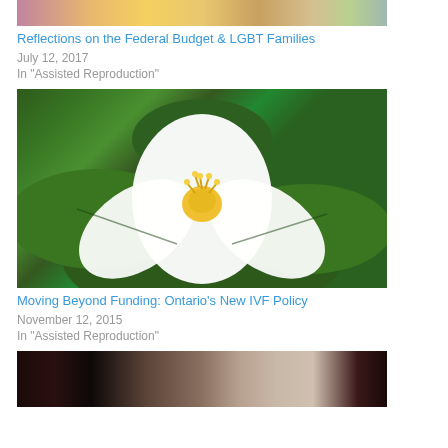[Figure (photo): Top portion of a colorful abstract painting with orange, yellow, and green tones]
Reflections on the Federal Budget & LGBT Families
July 12, 2017
In "Assisted Reproduction"
[Figure (photo): Close-up photograph of a white trillium flower with yellow center and large green leaves]
Moving Beyond Funding: Ontario's New IVF Policy
November 12, 2015
In "Assisted Reproduction"
[Figure (photo): Silhouette of a person standing near a window with plaid curtains in a dark room]